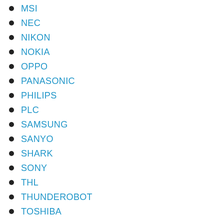MSI
NEC
NIKON
NOKIA
OPPO
PANASONIC
PHILIPS
PLC
SAMSUNG
SANYO
SHARK
SONY
THL
THUNDEROBOT
TOSHIBA